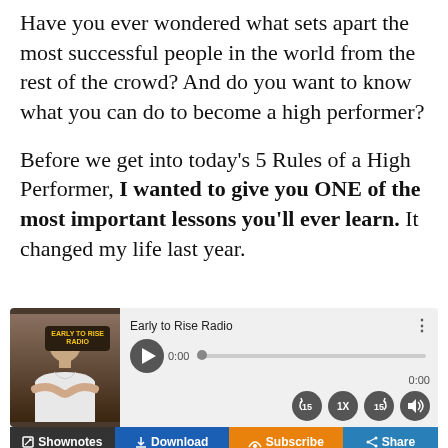Have you ever wondered what sets apart the most successful people in the world from the rest of the crowd? And do you want to know what you can do to become a high performer?
Before we get into today's 5 Rules of a High Performer, I wanted to give you ONE of the most important lessons you'll ever learn. It changed my life last year.
[Figure (screenshot): An audio player widget for 'Early to Rise Radio' showing a play button, progress bar at 0:00, skip 15 seconds back/forward buttons, 1X speed button, and volume button. Below the player are four buttons: Shownotes (dark), Download (blue), Subscribe (orange), Share (blue).]